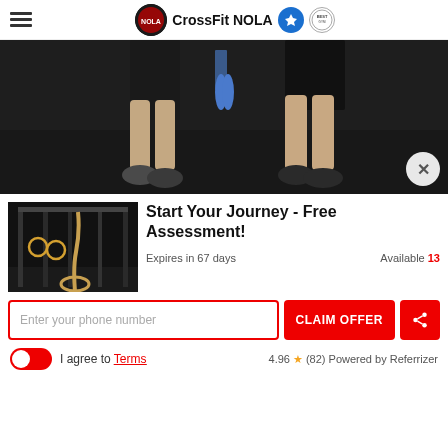CrossFit NOLA
[Figure (photo): Cropped photo showing two people's legs/feet standing on a dark gym floor, viewed from waist down]
[Figure (photo): Gym interior photo showing climbing ropes, gymnastics rings, and pull-up rig equipment on a dark floor]
Start Your Journey - Free Assessment!
Expires in 67 days
Available 13
Enter your phone number
CLAIM OFFER
I agree to Terms
4.96 ★ (82) Powered by Referrizer